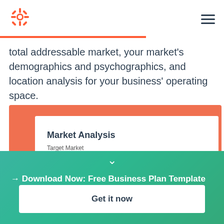HubSpot logo and navigation menu
total addressable market, your market's demographics and psychographics, and location analysis for your business' operating space.
[Figure (screenshot): Orange card containing a white document preview labeled 'Market Analysis' with subtitle 'Target Market']
→ Download Now: Free Business Plan Template
Get it now